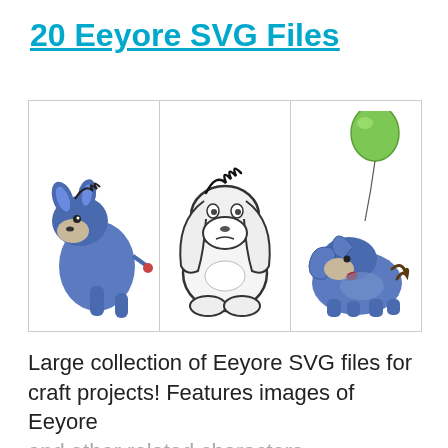20 Eeyore SVG Files
[Figure (illustration): Three panels showing Eeyore cartoon illustrations: left panel shows colored blue Eeyore peeping/crouching, center panel shows black and white outline Eeyore sitting sadly, right panel shows colored blue Eeyore lying down with a green balloon above.]
Large collection of Eeyore SVG files for craft projects! Features images of Eeyore
and other related characters.